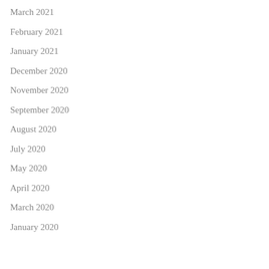March 2021
February 2021
January 2021
December 2020
November 2020
September 2020
August 2020
July 2020
May 2020
April 2020
March 2020
January 2020